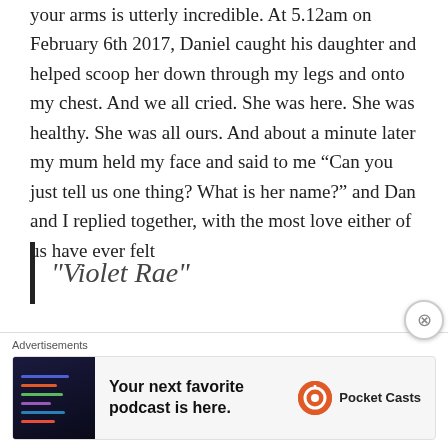your arms is utterly incredible. At 5.12am on February 6th 2017, Daniel caught his daughter and helped scoop her down through my legs and onto my chest. And we all cried. She was here. She was healthy. She was all ours. And about a minute later my mum held my face and said to me “Can you just tell us one thing? What is her name?” and Dan and I replied together, with the most love either of us have ever felt
“Violet Rae”
[Figure (photo): Black and white photo showing a hospital or home setting with a McDonald's cup, dark cylindrical objects, and the back of a person's head.]
Advertisements
[Figure (screenshot): Advertisement for Pocket Casts podcast app. Text reads: Your next favorite podcast is here. Logo shows Pocket Casts branding with orange circle icon.]